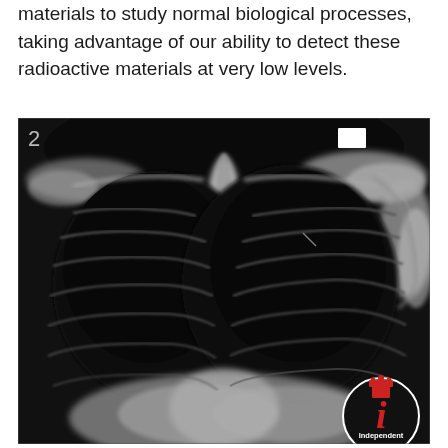materials to study normal biological processes, taking advantage of our ability to detect these radioactive materials at very low levels.
[Figure (photo): Frontal chest X-ray (posteroanterior view) showing lungs, ribs, clavicles, and mediastinum. A circular 'Independent' media logo watermark appears in the bottom-right corner of the image. A small white rectangle marker is visible in the upper-right area of the X-ray.]